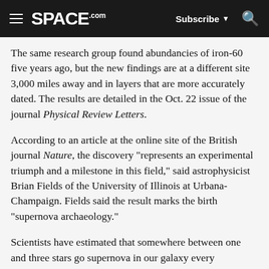SPACE.com  Subscribe  Q
The same research group found abundancies of iron-60 five years ago, but the new findings are at a different site 3,000 miles away and in layers that are more accurately dated. The results are detailed in the Oct. 22 issue of the journal Physical Review Letters.
According to an article at the online site of the British journal Nature, the discovery "represents an experimental triumph and a milestone in this field," said astrophysicist Brian Fields of the University of Illinois at Urbana-Champaign. Fields said the result marks the birth "supernova archaeology."
Scientists have estimated that somewhere between one and three stars go supernova in our galaxy every